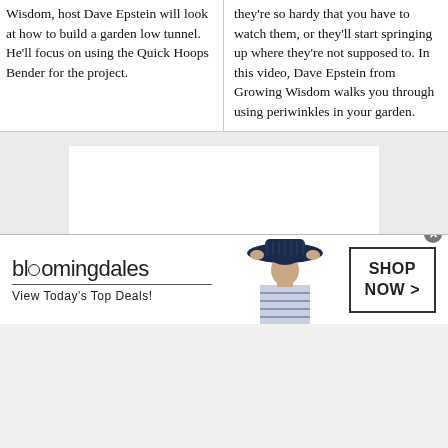Wisdom, host Dave Epstein will look at how to build a garden low tunnel. He'll focus on using the Quick Hoops Bender for the project.
they're so hardy that you have to watch them, or they'll start springing up where they're not supposed to. In this video, Dave Epstein from Growing Wisdom walks you through using periwinkles in your garden.
[Figure (other): White rectangular placeholder box centered on a light gray background, representing an embedded video player area.]
[Figure (other): Bloomingdale's advertisement banner featuring the Bloomingdale's logo with tagline 'View Today's Top Deals!', a woman wearing a large navy blue hat, and a 'SHOP NOW >' button.]